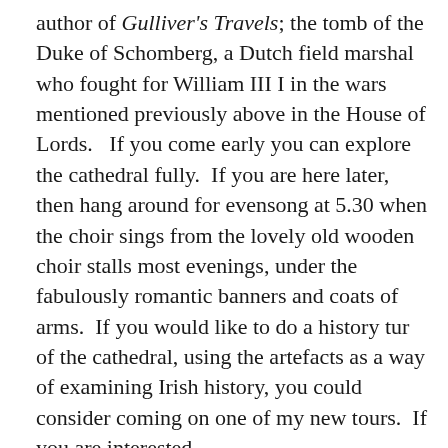author of Gulliver's Travels; the tomb of the Duke of Schomberg, a Dutch field marshal who fought for William III I in the wars mentioned previously above in the House of Lords.   If you come early you can explore the cathedral fully.  If you are here later, then hang around for evensong at 5.30 when the choir sings from the lovely old wooden choir stalls most evenings, under the fabulously romantic banners and coats of arms.  If you would like to do a history tur of the cathedral, using the artefacts as a way of examining Irish history, you could consider coming on one of my new tours.  If you are interested,  please see http://dublindecoded.com/how-to-read-a-cathedral/